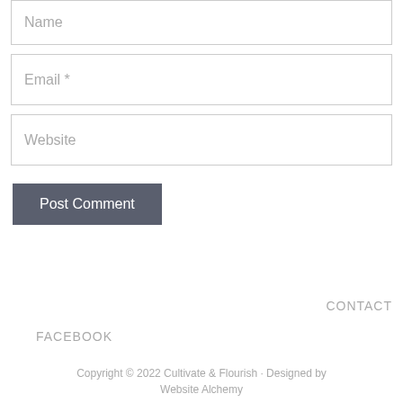Name
Email *
Website
Post Comment
CONTACT
FACEBOOK
Copyright © 2022 Cultivate & Flourish · Designed by Website Alchemy